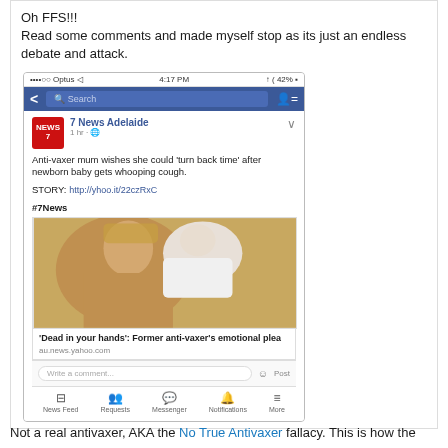Oh FFS!!!
Read some comments and made myself stop as its just an endless debate and attack.
[Figure (screenshot): Screenshot of a mobile phone showing a Facebook post by 7 News Adelaide about an anti-vaxer mum wishing she could turn back time after newborn baby gets whooping cough, with a story link and hashtag #7News, and a linked article preview titled 'Dead in your hands': Former anti-vaxer's emotional plea from au.news.yahoo.com, along with a comment bar and Facebook navigation bar.]
Not a real antivaxer, AKA the No True Antivaxer fallacy. This is how the